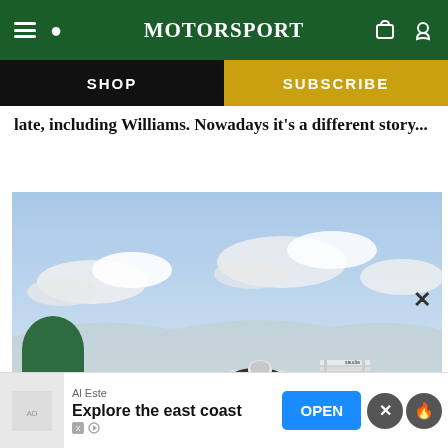MotorSport
SHOP
SUBSCRIBE
late, including Williams. Nowadays it's a different story...
[Figure (photo): White Formula 1 racing car number 27 with TAG sponsorship, Williams F1, on a race track with cloudy blue sky background]
Al Este
Explore the east coast